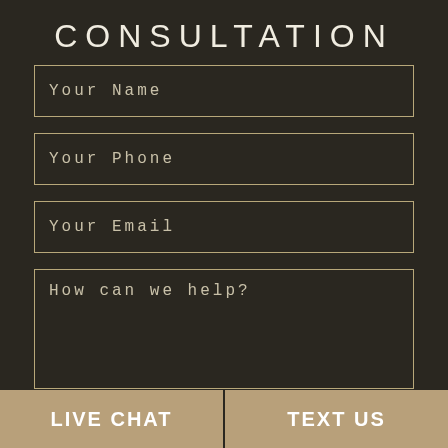CONSULTATION
Your Name
Your Phone
Your Email
How can we help?
LIVE CHAT
TEXT US